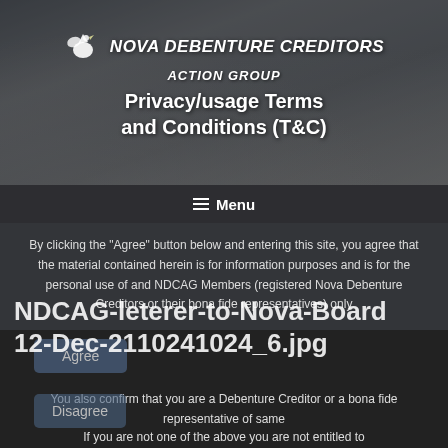NOVA DEBENTURE CREDITORS ACTION GROUP
Privacy/usage Terms and Conditions (T&C)
Menu
By clicking the "Agree" button below and entering this site, you agree that the material contained herein is for information purposes and is for the personal use of and NDCAG Members (registered Nova Debenture Creditors or their bona fide representatives) only
[Figure (other): Watermark overlay text: NDCAG-leterer-to-Nova-Board-12-Dec-2110241024_6.jpg]
You also confirm that you are a Debenture Creditor or a bona fide representative of same
If you are not one of the above you are not entitled to
Agree
Disagree